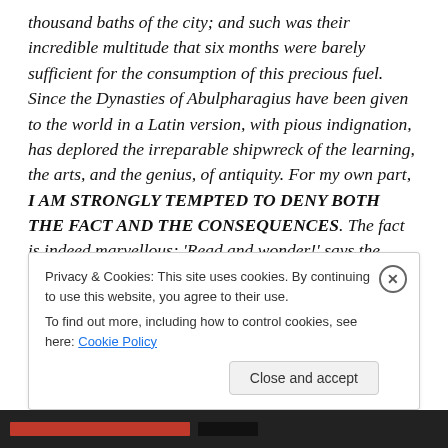thousand baths of the city; and such was their incredible multitude that six months were barely sufficient for the consumption of this precious fuel. Since the Dynasties of Abulpharagius have been given to the world in a Latin version, with pious indignation, has deplored the irreparable shipwreck of the learning, the arts, and the genius, of antiquity. For my own part, I AM STRONGLY TEMPTED TO DENY BOTH THE FACT AND THE CONSEQUENCES. The fact is indeed marvellous; 'Read and wonder!' says the historian himself; and the solitary report of a stranger who wrote at the end of six hundred
Privacy & Cookies: This site uses cookies. By continuing to use this website, you agree to their use.
To find out more, including how to control cookies, see here: Cookie Policy